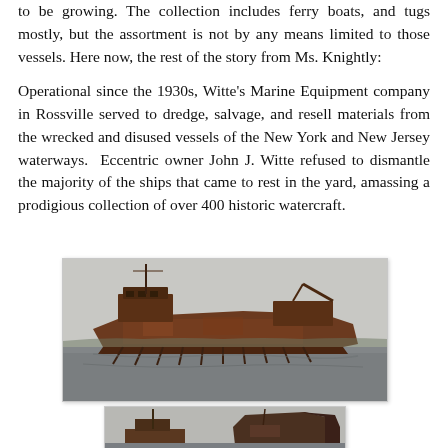to be growing. The collection includes ferry boats, and tugs mostly, but the assortment is not by any means limited to those vessels. Here now, the rest of the story from Ms. Knightly:
Operational since the 1930s, Witte's Marine Equipment company in Rossville served to dredge, salvage, and resell materials from the wrecked and disused vessels of the New York and New Jersey waterways. Eccentric owner John J. Witte refused to dismantle the majority of the ships that came to rest in the yard, amassing a prodigious collection of over 400 historic watercraft.
[Figure (photo): A rusting, partially sunken historic watercraft in water, photographed in overcast conditions. The vessel shows significant decay with its hull breaking apart.]
[Figure (photo): Another view of abandoned historic vessels at the Witte Marine Equipment yard, showing masts and rusted superstructure against a grey sky.]